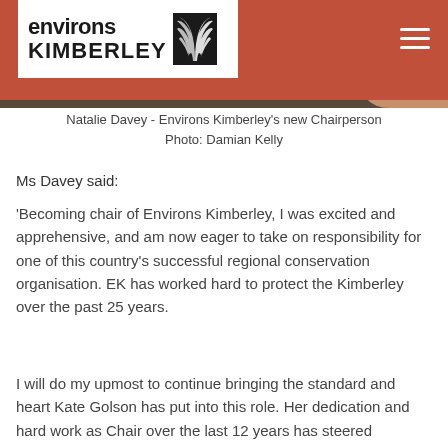[Figure (photo): Top portion of a webpage for Environs Kimberley showing the organization's logo on a white box against a rust/terracotta colored header bar with hamburger menu icon, and a dark photo of a person (partially visible)]
Natalie Davey - Environs Kimberley's new Chairperson
Photo: Damian Kelly
Ms Davey said:
‘Becoming chair of Environs Kimberley, I was excited and apprehensive, and am now eager to take on responsibility for one of this country’s successful regional conservation organisation. EK has worked hard to protect the Kimberley over the past 25 years.
I will do my upmost to continue bringing the standard and heart Kate Golson has put into this role. Her dedication and hard work as Chair over the last 12 years has steered